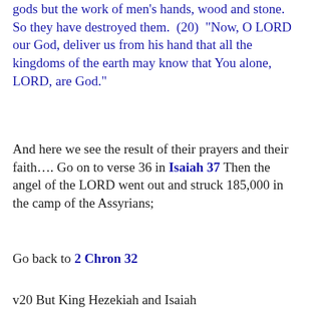gods but the work of men's hands, wood and stone. So they have destroyed them.  (20)  "Now, O LORD our God, deliver us from his hand that all the kingdoms of the earth may know that You alone, LORD, are God."
And here we see the result of their prayers and their faith…. Go on to verse 36 in Isaiah 37 Then the angel of the LORD went out and struck 185,000 in the camp of the Assyrians;
Go back to 2 Chron 32
v20 But King Hezekiah and Isaiah